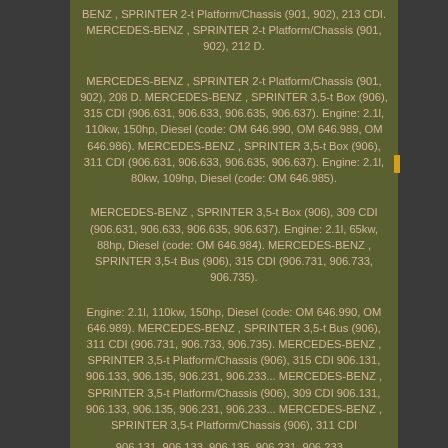BENZ , SPRINTER 2-t Platform/Chassis (901, 902), 213 CDI. MERCEDES-BENZ , SPRINTER 2-t Platform/Chassis (901, 902), 212 D.
MERCEDES-BENZ , SPRINTER 2-t Platform/Chassis (901, 902), 208 D. MERCEDES-BENZ , SPRINTER 3,5-t Box (906), 315 CDI (906.631, 906.633, 906.635, 906.637). Engine: 2.1l, 110kw, 150hp, Diesel (code: OM 646.990, OM 646.989, OM 646.986). MERCEDES-BENZ , SPRINTER 3,5-t Box (906), 311 CDI (906.631, 906.633, 906.635, 906.637). Engine: 2.1l, 80kw, 109hp, Diesel (code: OM 646.985).
MERCEDES-BENZ , SPRINTER 3,5-t Box (906), 309 CDI (906.631, 906.633, 906.635, 906.637). Engine: 2.1l, 65kw, 88hp, Diesel (code: OM 646.984). MERCEDES-BENZ , SPRINTER 3,5-t Bus (906), 315 CDI (906.731, 906.733, 906.735).
Engine: 2.1l, 110kw, 150hp, Diesel (code: OM 646.990, OM 646.989). MERCEDES-BENZ , SPRINTER 3,5-t Bus (906), 311 CDI (906.731, 906.733, 906.735). MERCEDES-BENZ , SPRINTER 3,5-t Platform/Chassis (906), 315 CDI 906.131, 906.133, 906.135, 906.231, 906.233... MERCEDES-BENZ , SPRINTER 3,5-t Platform/Chassis (906), 309 CDI 906.131, 906.133, 906.135, 906.231, 906.233... MERCEDES-BENZ , SPRINTER 3,5-t Platform/Chassis (906), 311 CDI 906.131, 906.133, 906.135, 906.231, 906.233...